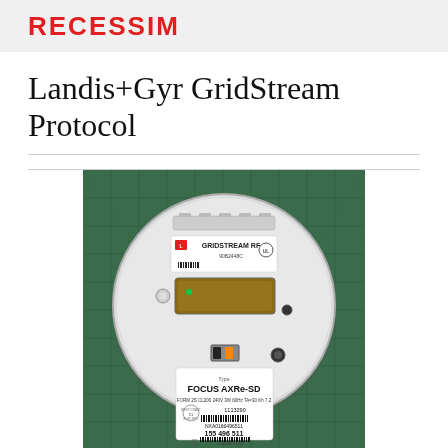RECESSIM
Landis+Gyr GridStream Protocol
[Figure (photo): Photo of a Landis+Gyr FOCUS AXRe-SD electric smart meter with GridStream RF module. The circular white meter face shows a GRIDSTREAM RF label (model 90B2448C), a dark LCD display, a NXA0166496511 serial label, barcode, and lower label reading: Type FOCUS AXRe-SD, FORM 2S CL200 240V 3W 60Hz TA=30 Kh 7.2, 1113290, NXA0166496511, 155 496 511, Landis+Gyr. Meter sits on a green cutting mat background.]